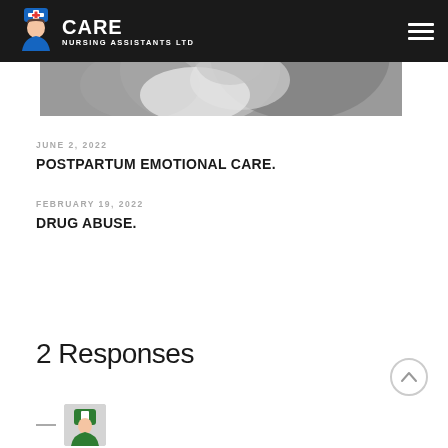CARE NURSING ASSISTANTS LTD
[Figure (photo): Black and white close-up photo of a baby/infant, mother's hands visible]
JUNE 2, 2022
POSTPARTUM EMOTIONAL CARE.
FEBRUARY 19, 2022
DRUG ABUSE.
2 Responses